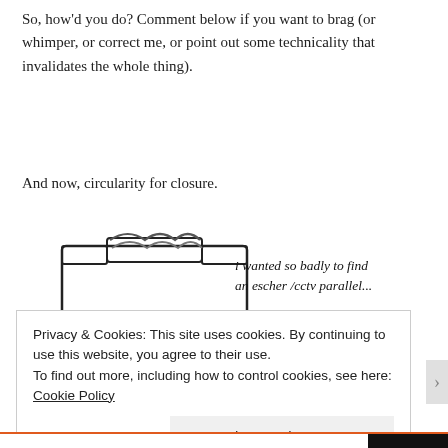So, how'd you do? Comment below if you want to brag (or whimper, or correct me, or point out some technicality that invalidates the whole thing).
And now, circularity for closure.
[Figure (illustration): Hand-drawn cartoon of a paper shredder shredding documents. Handwritten text reads: 'i wanted so badly to find an escher/cctv parallel... ...nope. couldn't figure it out.']
Privacy & Cookies: This site uses cookies. By continuing to use this website, you agree to their use.
To find out more, including how to control cookies, see here: Cookie Policy
Close and accept